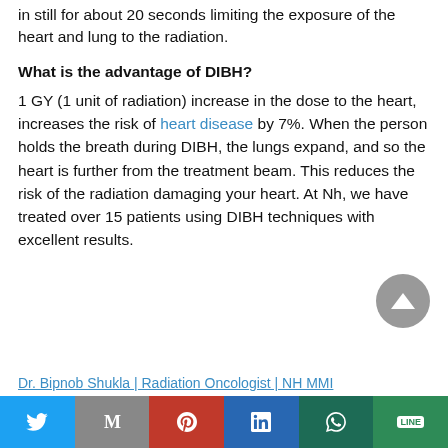in still for about 20 seconds limiting the exposure of the heart and lung to the radiation.
What is the advantage of DIBH?
1 GY (1 unit of radiation) increase in the dose to the heart, increases the risk of heart disease by 7%. When the person holds the breath during DIBH, the lungs expand, and so the heart is further from the treatment beam. This reduces the risk of the radiation damaging your heart. At Nh, we have treated over 15 patients using DIBH techniques with excellent results.
Dr. Bipnob Shukla | Radiation Oncologist | NH MMI